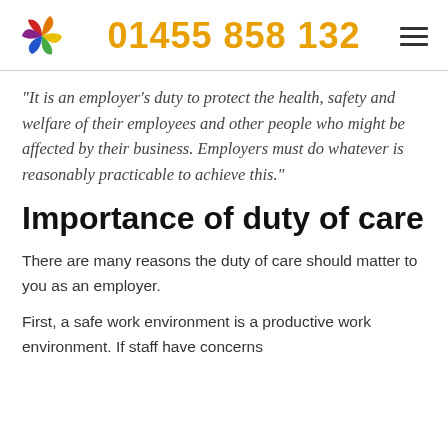01455 858 132
“It is an employer’s duty to protect the health, safety and welfare of their employees and other people who might be affected by their business. Employers must do whatever is reasonably practicable to achieve this.”
Importance of duty of care
There are many reasons the duty of care should matter to you as an employer.
First, a safe work environment is a productive work environment. If staff have concerns